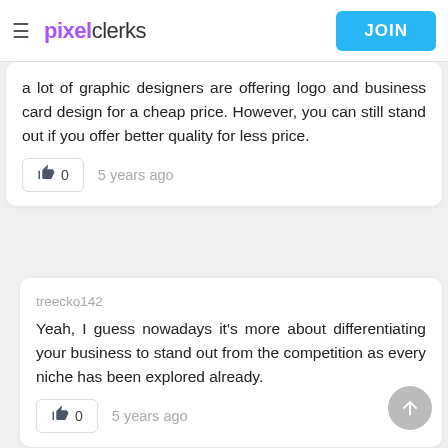pixelclerks | JOIN
a lot of graphic designers are offering logo and business card design for a cheap price. However, you can still stand out if you offer better quality for less price.
👍 0   5 years ago
treecko142
Yeah, I guess nowadays it's more about differentiating your business to stand out from the competition as every niche has been explored already.
👍 0   5 years ago